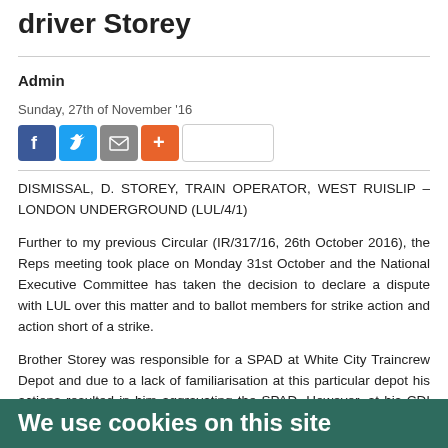driver Storey
Admin
Sunday, 27th of November '16
[Figure (other): Social sharing icons: Facebook, Twitter, Email, Plus, and a blank share button]
DISMISSAL, D. STOREY, TRAIN OPERATOR, WEST RUISLIP – LONDON UNDERGROUND (LUL/4/1)
Further to my previous Circular (IR/317/16, 26th October 2016), the Reps meeting took place on Monday 31st October and the National Executive Committee has taken the decision to declare a dispute with LUL over this matter and to ballot members for strike action and action short of a strike.
Brother Storey was responsible for a SPAD at White City Traincrew Depot and due to a lack of familiarisation at this particular depot his actions resulted in him aggravating the SPAD. However, at his CDI many mitigations against his dismissal were ignored or wrongly discounted and the circumstances of the incident were never properly considered
We use cookies on this site